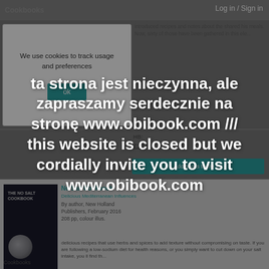Cookbooks   Log in / Sign in
We use cookies to track usage and preferences
ok
introduced recipes and notes about the shared his meals. Now, sixty of those have been gathered in this ele...
HB:
£27,50
Add books to the list
[Figure (screenshot): Book cover: The No Salt Cookbook, dark background with white text and circular salt-spill image]
No Salt Cookbook
Delicious Mediterranean Influences
By author, New Holland Publishers, February 2016
208 pp, colour illus.
Cookbooks
delicious recipes that use herbs and spices to add texture without compromising on taste. If you are following a low-sodium diet for health reasons, or you simply want to cut down on your salt intake, you ll find th...
ta strona jest nieczynna, ale zapraszamy serdecznie na stronę www.obibook.com /// this website is closed but we cordially invite you to visit www.obibook.com